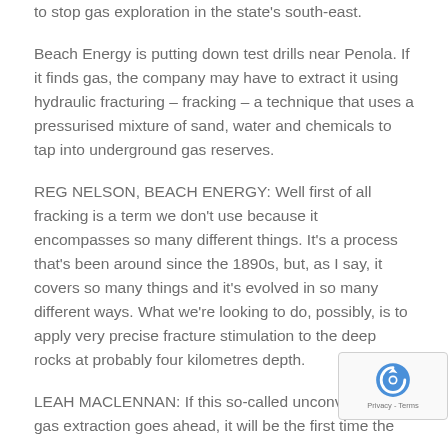to stop gas exploration in the state's south-east.
Beach Energy is putting down test drills near Penola. If it finds gas, the company may have to extract it using hydraulic fracturing – fracking – a technique that uses a pressurised mixture of sand, water and chemicals to tap into underground gas reserves.
REG NELSON, BEACH ENERGY: Well first of all fracking is a term we don't use because it encompasses so many different things. It's a process that's been around since the 1890s, but, as I say, it covers so many things and it's evolved in so many different ways. What we're looking to do, possibly, is to apply very precise fracture stimulation to the deep rocks at probably four kilometres depth.
LEAH MACLENNAN: If this so-called unconventional gas extraction goes ahead, it will be the first time the